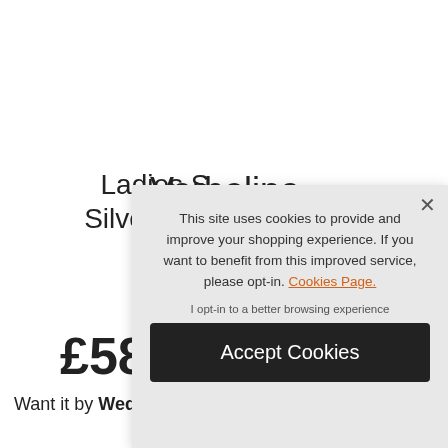Verboline
Ladies S... Silver Expa...
£58...
Want it by Wedn...
This site uses cookies to provide and improve your shopping experience. If you want to benefit from this improved service, please opt-in. Cookies Page.
I opt-in to a better browsing experience
Accept Cookies